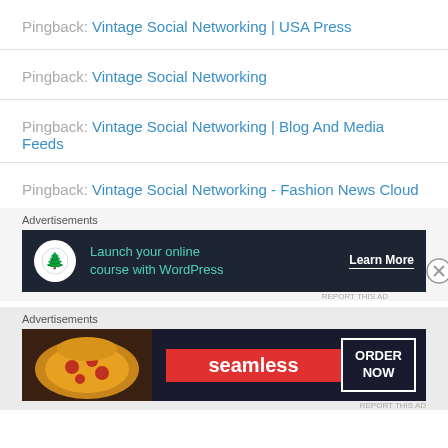Pingback: Vintage Social Networking | USA Press
Pingback: Vintage Social Networking
Pingback: Vintage Social Networking | Blog And Media Feeds
Pingback: Vintage Social Networking - Fashion News Cloud
Advertisements
[Figure (screenshot): Dark banner ad: Launch your online course with WordPress – Learn More button]
Advertisements
[Figure (screenshot): Seamless food delivery dark banner ad with pizza image and ORDER NOW button]